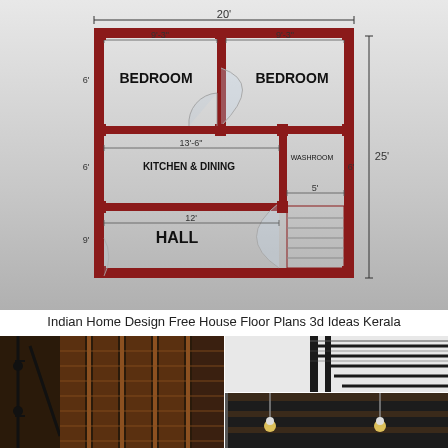[Figure (schematic): Floor plan of a 20x25 foot Indian home showing two bedrooms (each 9'-3" wide), kitchen & dining area (13'-6" wide), washroom (5' wide), and hall (12' wide x 9' tall). Walls shown in dark red/maroon. Dimensions labeled throughout.]
Indian Home Design Free House Floor Plans 3d Ideas Kerala
[Figure (photo): Collage of three interior photos showing: left - wrought iron railing with dark wood paneled doors/windows; top right - modern black steel staircase; bottom right - ceiling with pendant light fixtures]